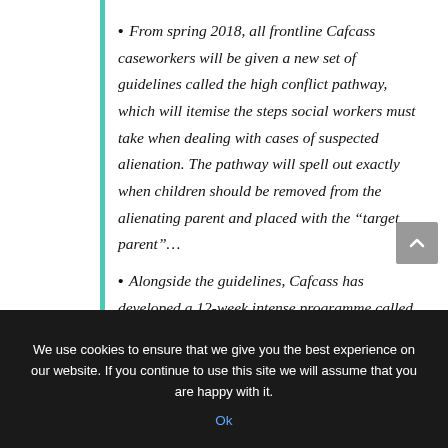From spring 2018, all frontline Cafcass caseworkers will be given a new set of guidelines called the high conflict pathway, which will itemise the steps social workers must take when dealing with cases of suspected alienation. The pathway will spell out exactly when children should be removed from the alienating parent and placed with the “target parent”…
Alongside the guidelines, Cafcass has developed a 12-week intense programme called positive
We use cookies to ensure that we give you the best experience on our website. If you continue to use this site we will assume that you are happy with it.
Ok